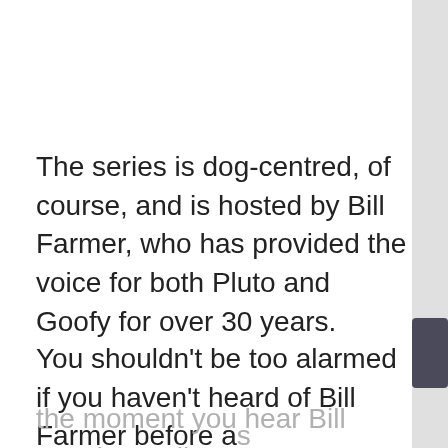The series is dog-centred, of course, and is hosted by Bill Farmer, who has provided the voice for both Pluto and Goofy for over 30 years.
You shouldn't be too alarmed if you haven't heard of Bill Farmer before a… the moment you hear Bill speak, you'll instantly hear Goofy and feel as if you're…